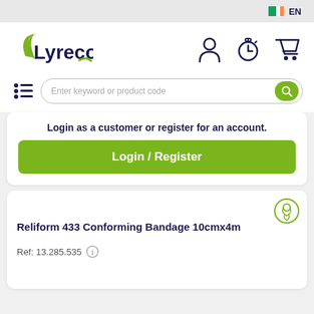EN
[Figure (logo): Lyreco logo with green swoosh]
[Figure (infographic): Navigation icons: user profile, stopwatch/quick order, shopping cart]
[Figure (infographic): Hamburger menu icon and search bar with Enter keyword or product code placeholder and green search button]
Login as a customer or register for an account.
Login / Register
Reliform 433 Conforming Bandage 10cmx4m
Ref: 13.285.535